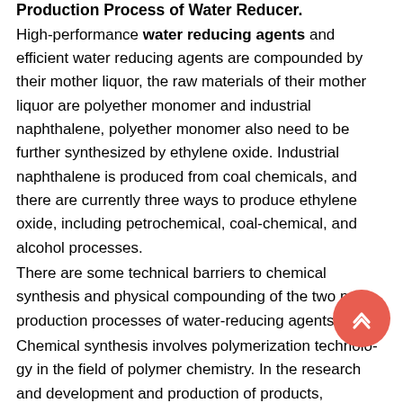Production Process of Water Reducer.
High-performance water reducing agents and efficient water reducing agents are compounded by their mother liquor, the raw materials of their mother liquor are polyether monomer and industrial naphthalene, polyether monomer also need to be further synthesized by ethylene oxide. Industrial naphthalene is produced from coal chemicals, and there are currently three ways to produce ethylene oxide, including petrochemical, coal-chemical, and alcohol processes.
There are some technical barriers to chemical synthesis and physical compounding of the two main production processes of water-reducing agents.
Chemical synthesis involves polymerization technology in the field of polymer chemistry. In the research and development and production of products, relatively professional personnel are required, and long-term